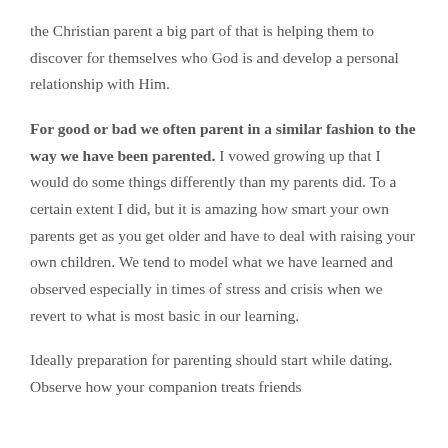the Christian parent a big part of that is helping them to discover for themselves who God is and develop a personal relationship with Him.
For good or bad we often parent in a similar fashion to the way we have been parented. I vowed growing up that I would do some things differently than my parents did. To a certain extent I did, but it is amazing how smart your own parents get as you get older and have to deal with raising your own children. We tend to model what we have learned and observed especially in times of stress and crisis when we revert to what is most basic in our learning.
Ideally preparation for parenting should start while dating. Observe how your companion treats friends